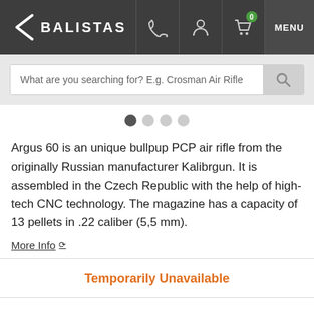BALISTAS
[Figure (screenshot): Search bar with placeholder text: What are you searching for? E.g. Crosman Air Rifle]
[Figure (other): Carousel navigation dots, first dot active]
Argus 60 is an unique bullpup PCP air rifle from the originally Russian manufacturer Kalibrgun. It is assembled in the Czech Republic with the help of high-tech CNC technology. The magazine has a capacity of 13 pellets in .22 caliber (5,5 mm).
More Info
Temporarily Unavailable
€ 1 519.6